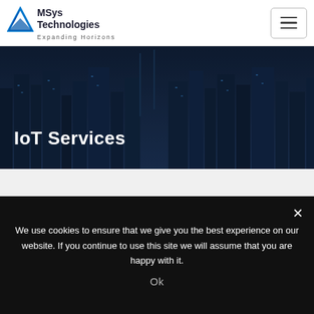[Figure (logo): MSys Technologies logo with blue M-arrow icon and tagline Expanding Horizons]
[Figure (illustration): Hamburger menu button with three horizontal bars]
[Figure (photo): Night cityscape hero banner background with buildings]
IoT Services
Accelerate with MSys today!
We use cookies to ensure that we give you the best experience on our website. If you continue to use this site we will assume that you are happy with it.
Ok